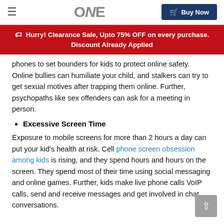ONE | Buy Now
Hurry! Clearance Sale, Upto 75% OFF on every purchase. Discount Already Applied
phones to set bounders for kids to protect online safety. Online bullies can humiliate your child, and stalkers can try to get sexual motives after trapping them online. Further, psychopaths like sex offenders can ask for a meeting in person.
Excessive Screen Time
Exposure to mobile screens for more than 2 hours a day can put your kid’s health at risk. Cell phone screen obsession among kids is rising, and they spend hours and hours on the screen. They spend most of their time using social messaging and online games. Further, kids make live phone calls VoIP calls, send and receive messages and get involved in chat conversations.